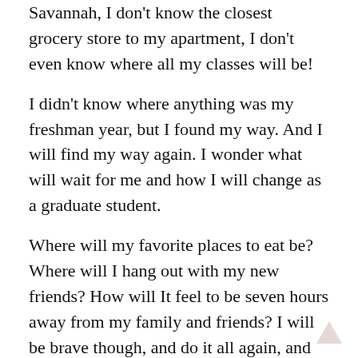Savannah, I don't know the closest grocery store to my apartment, I don't even know where all my classes will be!
I didn't know where anything was my freshman year, but I found my way. And I will find my way again. I wonder what will wait for me and how I will change as a graduate student.
Where will my favorite places to eat be? Where will I hang out with my new friends? How will It feel to be seven hours away from my family and friends? I will be brave though, and do it all again, and find my way and a new favorite target.
It's crazy to think I am graduating so soon. But I'm ready to do it. I am ready to walk across the stage and toss my cap in the air, celebrate with family and